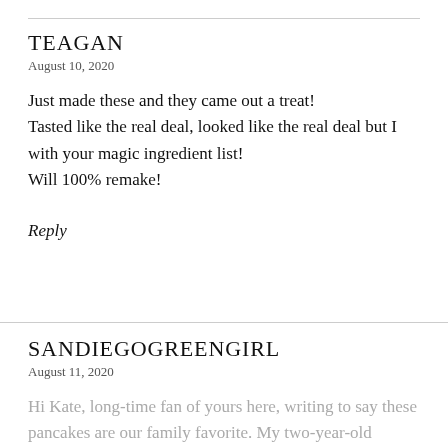TEAGAN
August 10, 2020
Just made these and they came out a treat!
Tasted like the real deal, looked like the real deal but I
with your magic ingredient list!
Will 100% remake!
Reply
SANDIEGOGREENGIRL
August 11, 2020
Hi Kate, long-time fan of yours here, writing to say these pancakes are our family favorite. My two-year-old